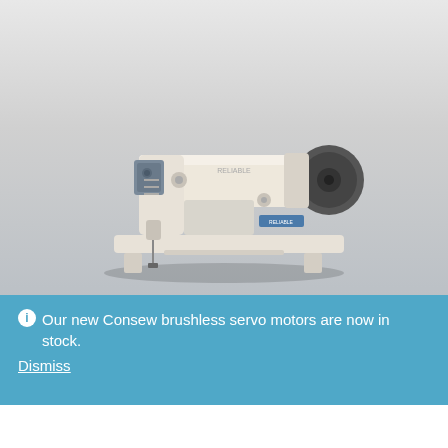[Figure (photo): Industrial sewing machine (Reliable 4000SW) shown on a light gray gradient background. The machine is cream/off-white colored with a large gray flywheel on the right side, a rectangular arm, needle assembly on the left, and a flat base plate.]
Our new Consew brushless servo motors are now in stock.
Dismiss
RELIABLE 4000SW
$1,399.00